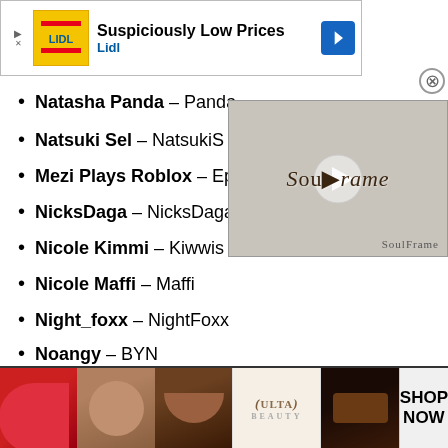[Figure (screenshot): Advertisement banner for Lidl 'Suspiciously Low Prices' with yellow Lidl logo and blue navigation arrow]
Natasha Panda – Panda
Natsuki Sel – NatsukiS
Mezi Plays Roblox – Epi
NicksDaga – NicksDaga
Nicole Kimmi – Kiwwis
Nicole Maffi – Maffi
Night_foxx – NightFoxx
Noangy – BYN
Noclypso – Noclypso
noekje – noe
NO_DATA – purple
Noob Master – Noob
NotThnxCya – ThnxCya
[Figure (screenshot): Video overlay showing 'SoulFrame' in medieval gothic font on stone-textured background]
[Figure (screenshot): Ulta Beauty advertisement banner showing makeup imagery and SHOP NOW call to action]